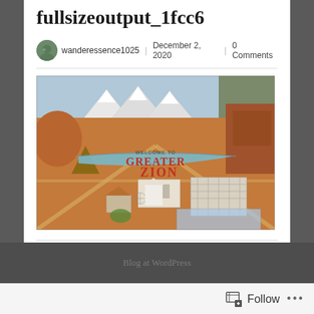fullsizeoutput_1fcc6
wanderessence1025 | December 2, 2020 | 0 Comments
[Figure (illustration): Illustrated map of Greater Zion region showing desert landscape with red rock formations, mountains in background, roads, buildings, and a banner reading 'Welcome to Greater Zion']
Blog at WordPress